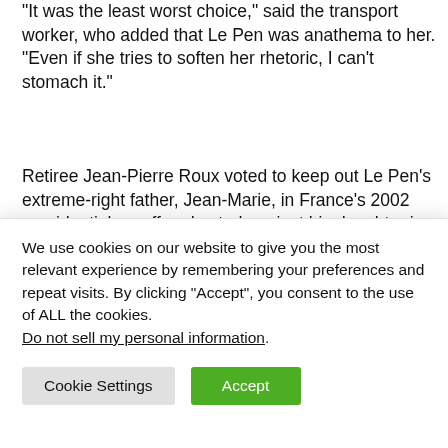“It was the least worst choice,” said the transport worker, who added that Le Pen was anathema to her. “Even if she tries to soften her rhetoric, I can’t stomach it.”
Retiree Jean-Pierre Roux voted to keep out Le Pen’s extreme-right father, Jean-Marie, in France’s 2002 presidential runoff and voted against his daughter in 2017. But Roux could not bring himself to vote for Macron again this time, saying he was too arrogant. Roux put an empty envelope in the voting box.
“I am not against his ideas but I cannot stand the person,” he
We use cookies on our website to give you the most relevant experience by remembering your preferences and repeat visits. By clicking “Accept”, you consent to the use of ALL the cookies.
Do not sell my personal information.
Cookie Settings
Accept